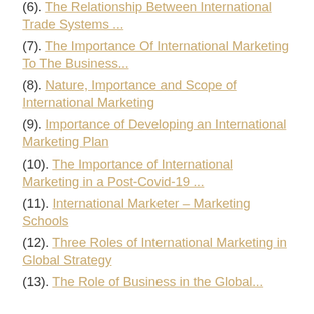(6). The Relationship Between International Trade Systems ...
(7). The Importance Of International Marketing To The Business...
(8). Nature, Importance and Scope of International Marketing
(9). Importance of Developing an International Marketing Plan
(10). The Importance of International Marketing in a Post-Covid-19 ...
(11). International Marketer – Marketing Schools
(12). Three Roles of International Marketing in Global Strategy
(13). The Role of Business in the Global...